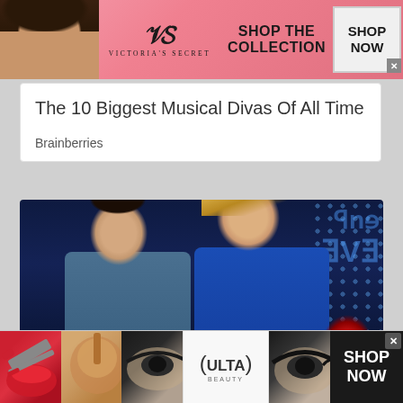[Figure (photo): Victoria's Secret advertisement banner with model, VS logo, 'SHOP THE COLLECTION' text, and 'SHOP NOW' button]
The 10 Biggest Musical Divas Of All Time
Brainberries
[Figure (photo): Two people on a TV talk show set — a man in a blue-grey shirt and a woman in a royal blue dress, appearing to be in conversation. Background shows a colorful TV studio set with lights.]
[Figure (photo): Ulta Beauty advertisement banner showing makeup items — red lips, makeup brush, eye makeup, Ulta logo, model eye, and 'SHOP NOW' button]